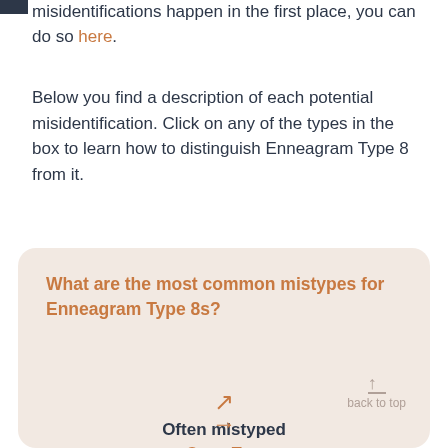misidentifications happen in the first place, you can do so here.
Below you find a description of each potential misidentification. Click on any of the types in the box to learn how to distinguish Enneagram Type 8 from it.
What are the most common mistypes for Enneagram Type 8s?
Often mistyped
One, Two